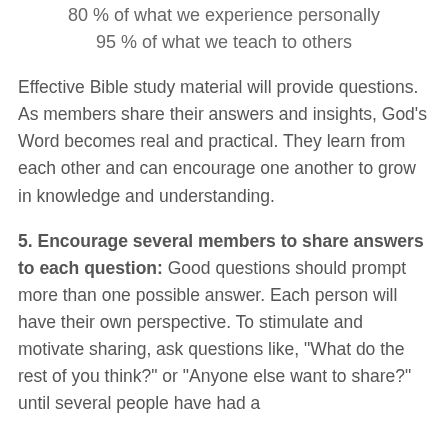80 % of what we experience personally
95 % of what we teach to others
Effective Bible study material will provide questions. As members share their answers and insights, God’s Word becomes real and practical. They learn from each other and can encourage one another to grow in knowledge and understanding.
5. Encourage several members to share answers to each question: Good questions should prompt more than one possible answer. Each person will have their own perspective. To stimulate and motivate sharing, ask questions like, “What do the rest of you think?” or “Anyone else want to share?” until several people have had a